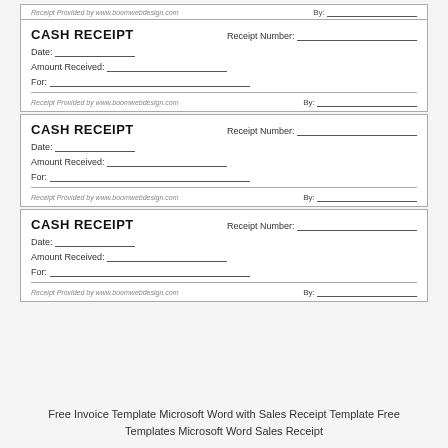[Figure (other): Three cash receipt form templates stacked vertically, each with fields for Date, Amount Received, For, Receipt Number, provider credit line, and By signature line.]
Free Invoice Template Microsoft Word with Sales Receipt Template Free Templates Microsoft Word Sales Receipt